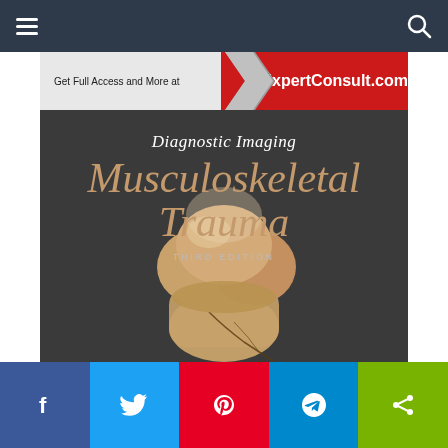[Figure (illustration): Book cover for Diagnostic Imaging: Musculoskeletal Trauma, Third Edition. Dark gray background with a banner at the top reading 'Get Full Access and More at ExpertConsult.com'. Large italic text reads 'Diagnostic Imaging' in white and 'Musculoskeletal Trauma' in tan/gold color. Below reads 'THIRD EDITION'. A 3D rendered anatomical knee joint is shown at the bottom center with visible fracture line.]
f  Twitter  Pinterest  Telegram  Share